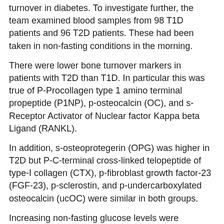turnover in diabetes. To investigate further, the team examined blood samples from 98 T1D patients and 96 T2D patients. These had been taken in non-fasting conditions in the morning.
There were lower bone turnover markers in patients with T2D than T1D. In particular this was true of P-Procollagen type 1 amino terminal propeptide (P1NP), p-osteocalcin (OC), and s-Receptor Activator of Nuclear factor Kappa beta Ligand (RANKL).
In addition, s-osteoprotegerin (OPG) was higher in T2D but P-C-terminal cross-linked telopeptide of type-I collagen (CTX), p-fibroblast growth factor-23 (FGF-23), p-sclerostin, and p-undercarboxylated osteocalcin (ucOC) were similar in both groups.
Increasing non-fasting glucose levels were inversely related to p-CTX, p-P1NP, p-OC, and p-ucOC and directly related to s-OPG. This was the case in simple linear and multiple linear regressions adjusted for factors influencing bone turnover markers including hemoglobin A1c (HbA1c).
"We found," the investigators continue, "that the p-glucose levels were correlated negatively with bone turnover markers